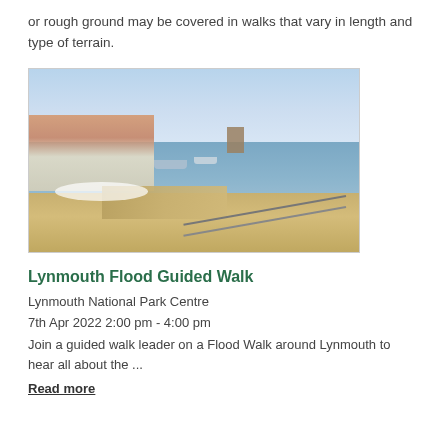or rough ground may be covered in walks that vary in length and type of terrain.
[Figure (photo): Coastal harbour scene at Lynmouth showing a stone pier/harbour wall, boats on the water, buildings on the left, and a railing along the walkway with the sea and cloudy sky in the background.]
Lynmouth Flood Guided Walk
Lynmouth National Park Centre
7th Apr 2022 2:00 pm - 4:00 pm
Join a guided walk leader on a Flood Walk around Lynmouth to hear all about the ...
Read more